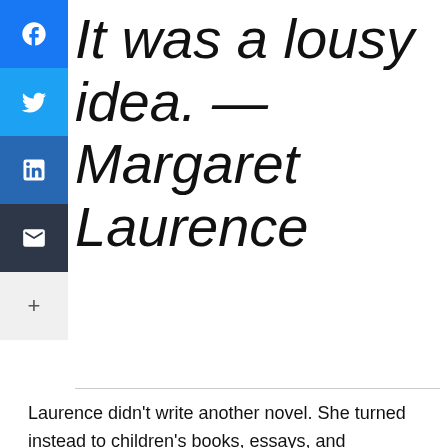[Figure (infographic): Social media share buttons sidebar: Facebook (blue), Twitter (light blue), LinkedIn (dark blue), Email (dark gray), More (+) (light gray)]
It was a lousy idea. — Margaret Laurence
Laurence didn't write another novel. She turned instead to children's books, essays, and supporting other writers. Laurence responded to as many as 1,500 letters